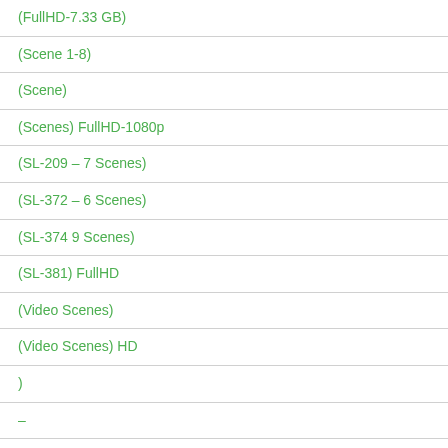(FullHD-7.33 GB)
(Scene 1-8)
(Scene)
(Scenes) FullHD-1080p
(SL-209 – 7 Scenes)
(SL-372 – 6 Scenes)
(SL-374 9 Scenes)
(SL-381) FullHD
(Video Scenes)
(Video Scenes) HD
)
–